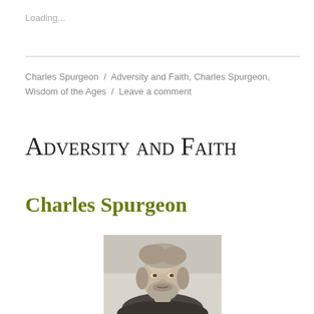Loading...
Charles Spurgeon  /  Adversity and Faith, Charles Spurgeon, Wisdom of the Ages  /  Leave a comment
Adversity and Faith
Charles Spurgeon
[Figure (photo): Black and white portrait photograph of Charles Spurgeon, showing his face and upper body with beard and swept hair]